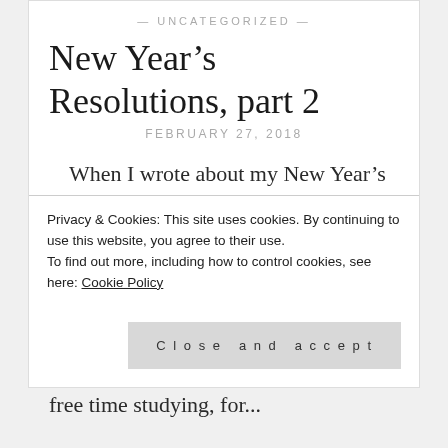— UNCATEGORIZED —
New Year's Resolutions, part 2
FEBRUARY 27, 2018
When I wrote about my New Year's resolutions earlier in the year, I said that I was content to wait until February to really settle on my creative goals. My work here is engaging and interesting, but the pace of life is different here. I don't have to spend my free time studying, for...
Privacy & Cookies: This site uses cookies. By continuing to use this website, you agree to their use.
To find out more, including how to control cookies, see here: Cookie Policy
Close and accept